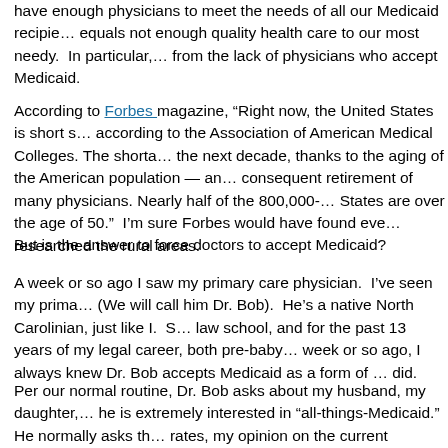have enough physicians to meet the needs of all our Medicaid recipie... equals not enough quality health care to our most needy.  In particular, ... from the lack of physicians who accept Medicaid.
According to Forbes magazine, “Right now, the United States is short s... according to the Association of American Medical Colleges. The shorta... the next decade, thanks to the aging of the American population — an... consequent retirement of many physicians. Nearly half of the 800,000-... States are over the age of 50.”  I’m sure Forbes would have found eve... researched the rural areas.
But is the answer to force doctors to accept Medicaid?
A week or so ago I saw my primary care physician.  I’ve seen my prima... (We will call him Dr. Bob).  He’s a native North Carolinian, just like I.  S... law school, and for the past 13 years of my legal career, both pre-baby... week or so ago, I always knew Dr. Bob accepts Medicaid as a form of ... did.
Per our normal routine, Dr. Bob asks about my husband, my daughter, ... he is extremely interested in “all-things-Medicaid.”  He normally asks th... rates, my opinion on the current administration, my perception of the tr... getting audits, who may be getting audits soon, etc.), and other various...